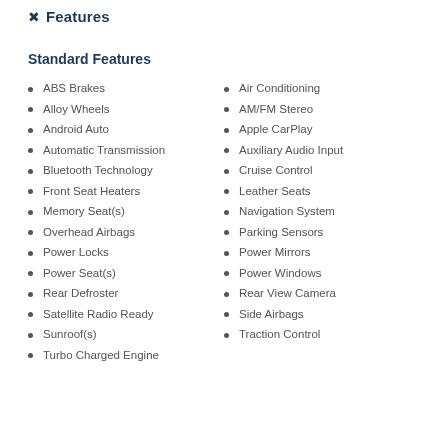Features
Standard Features
ABS Brakes
Air Conditioning
Alloy Wheels
AM/FM Stereo
Android Auto
Apple CarPlay
Automatic Transmission
Auxiliary Audio Input
Bluetooth Technology
Cruise Control
Front Seat Heaters
Leather Seats
Memory Seat(s)
Navigation System
Overhead Airbags
Parking Sensors
Power Locks
Power Mirrors
Power Seat(s)
Power Windows
Rear Defroster
Rear View Camera
Satellite Radio Ready
Side Airbags
Sunroof(s)
Traction Control
Turbo Charged Engine